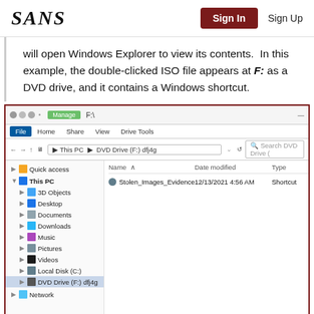SANS | Sign In | Sign Up
will open Windows Explorer to view its contents.  In this example, the double-clicked ISO file appears at F: as a DVD drive, and it contains a Windows shortcut.
[Figure (screenshot): Windows Explorer screenshot showing DVD Drive (F:) dfj4g containing a file named Stolen_Images_Evidence with date modified 12/13/2021 4:56 AM and type Shortcut. The left panel shows navigation tree including Quick access, This PC with 3D Objects, Desktop, Documents, Downloads, Music, Pictures, Videos, Local Disk (C:), and DVD Drive (F:) dfj4g highlighted. The right panel shows the file listing.]